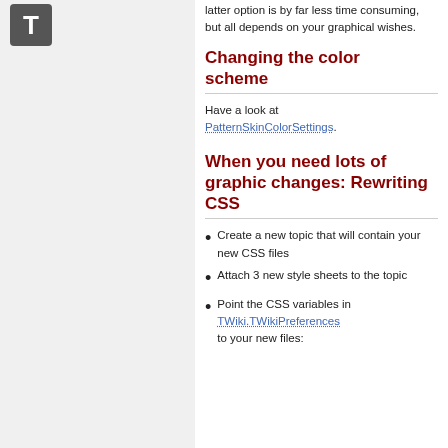[Figure (logo): Gray square icon with white letter T]
latter option is by far less time consuming, but all depends on your graphical wishes.
Changing the color scheme
Have a look at PatternSkinColorSettings.
When you need lots of graphic changes: Rewriting CSS
Create a new topic that will contain your new CSS files
Attach 3 new style sheets to the topic
Point the CSS variables in TWiki.TWikiPreferences to your new files: